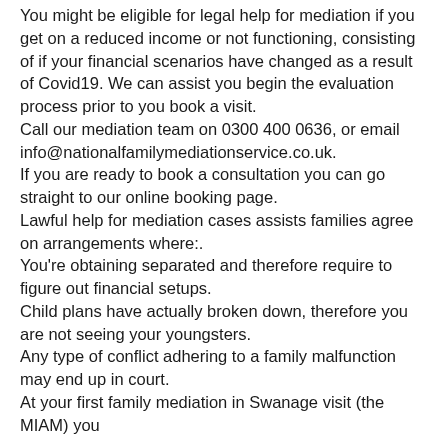You might be eligible for legal help for mediation if you get on a reduced income or not functioning, consisting of if your financial scenarios have changed as a result of Covid19. We can assist you begin the evaluation process prior to you book a visit.
Call our mediation team on 0300 400 0636, or email info@nationalfamilymediationservice.co.uk.
If you are ready to book a consultation you can go straight to our online booking page.
Lawful help for mediation cases assists families agree on arrangements where:.
You're obtaining separated and therefore require to figure out financial setups.
Child plans have actually broken down, therefore you are not seeing your youngsters.
Any type of conflict adhering to a family malfunction may end up in court.
At your first family mediation in Swanage visit (the MIAM) you